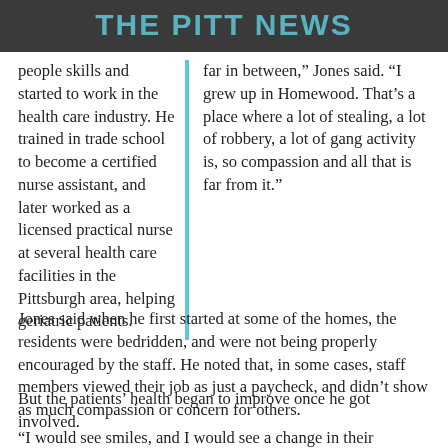THE PITT NEWS
people skills and started to work in the health care industry. He trained in trade school to become a certified nurse assistant, and later worked as a licensed practical nurse at several health care facilities in the Pittsburgh area, helping geriatric patients.
far in between," Jones said. "I grew up in Homewood. That's a place where a lot of stealing, a lot of robbery, a lot of gang activity is, so compassion and all that is far from it."
Jones said when he first started at some of the homes, the residents were bedridden, and were not being properly encouraged by the staff. He noted that, in some cases, staff members viewed their job as just a paycheck, and didn't show as much compassion or concern for others.
But the patients' health began to improve once he got involved.
“I would see smiles, and I would see a change in their behavior and their activity of daily living,” Jones said.